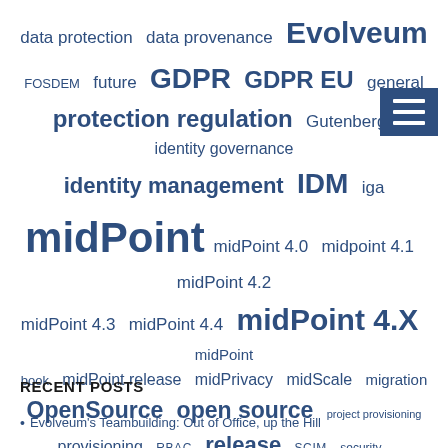[Figure (infographic): Tag cloud with terms related to identity management, midPoint, GDPR, open source, provisioning, and related topics in varying font sizes. Terms include: data protection, data provenance, Evolveum, FOSDEM, future, GDPR, GDPR EU, general protection regulation, Gutenberg, identity governance, identity management, IDM, iga, midPoint, midPoint 4.0, midpoint 4.1, midPoint 4.2, midPoint 4.3, midPoint 4.4, midPoint 4.X, midPoint book, midPoint release, midPrivacy, midScale, migration, OpenSource, open source, project provisioning, provisioning, RBAC, release, SCIM, security, survey, team, tiime, tutorial, update, webinar, workshop]
RECENT POSTS
Evolveum's Teambuilding: Out of Office, up the Hill